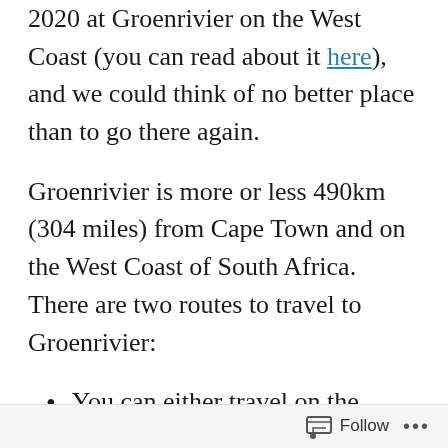2020 at Groenrivier on the West Coast (you can read about it here), and we could think of no better place than to go there again.
Groenrivier is more or less 490km (304 miles) from Cape Town and on the West Coast of South Africa. There are two routes to travel to Groenrivier:
You can either travel on the comfortable N7 highway (tarred road up to Garies, the closest town to Groenrivier). From here, just follow the gravel road of 70km (43 miles) to
Follow ···